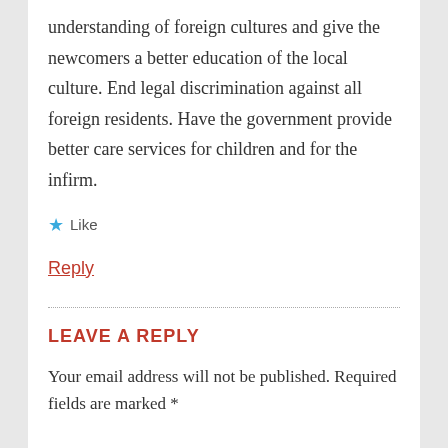understanding of foreign cultures and give the newcomers a better education of the local culture. End legal discrimination against all foreign residents. Have the government provide better care services for children and for the infirm.
★ Like
Reply
LEAVE A REPLY
Your email address will not be published. Required fields are marked *